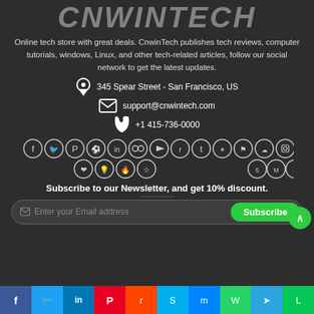CNWINTECH
Online tech store with great deals. CnwinTech publishes tech reviews, computer tutorials, windows, Linux, and other tech-related articles, follow our social network to get the latest updates.
345 Spear Street - San Francisco, US
support@cnwintech.com
+1 415-736-0000
[Figure (infographic): Row of social media icons: Facebook, Twitter, Pinterest, Dribbble, LinkedIn, Flickr, YouTube, Reddit, Tumblr, Yelp, Foursquare, SoundCloud, Instagram, 500px, Medium, Telegram, RSS, and a second row with heart, idea, flame, star icons]
Subscribe to our Newsletter, and get 10% discount.
[Figure (infographic): Email subscription input field with placeholder 'Enter your Email address' and a green 'Subscribe' button]
[Figure (infographic): Bottom sharing bar with icons for Facebook, Twitter, LinkedIn, Pinterest, Reddit, Skype, Messenger, WhatsApp, Telegram, LINE]